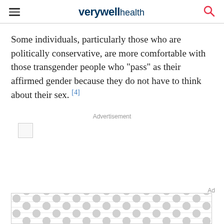verywell health
Some individuals, particularly those who are politically conservative, are more comfortable with those transgender people who "pass" as their affirmed gender because they do not have to think about their sex. [4]
Advertisement
[Figure (other): Advertisement image placeholder]
[Figure (other): Bottom advertisement banner with dot pattern]